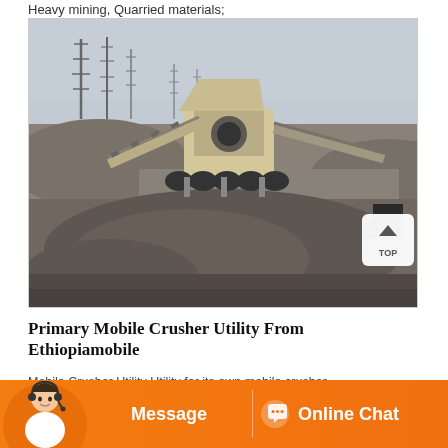Heavy mining, Quarried materials;
[Figure (photo): Mobile crusher equipment at a quarry/mining site in Ethiopia. Large industrial crushing machinery with conveyor belts, set against a barren landscape with communication towers in the background.]
Primary Mobile Crusher Utility From Ethiopiamobile
Mobile Crusher Utility Utility for its own mobile crusher
Message  Online Chat